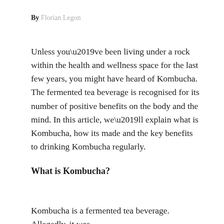By Florian Legon
Unless you’ve been living under a rock within the health and wellness space for the last few years, you might have heard of Kombucha. The fermented tea beverage is recognised for its number of positive benefits on the body and the mind. In this article, we’ll explain what is Kombucha, how its made and the key benefits to drinking Kombucha regularly.
What is Kombucha?
Kombucha is a fermented tea beverage. Allegedly, it was